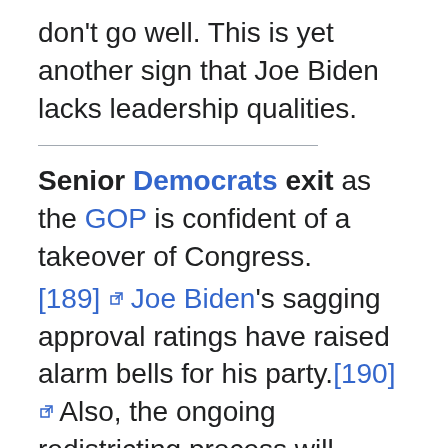don't go well. This is yet another sign that Joe Biden lacks leadership qualities.
Senior Democrats exit as the GOP is confident of a takeover of Congress.
[189] Joe Biden's sagging approval ratings have raised alarm bells for his party.[190] Also, the ongoing redistricting process will change congressional maps next fall.[191]